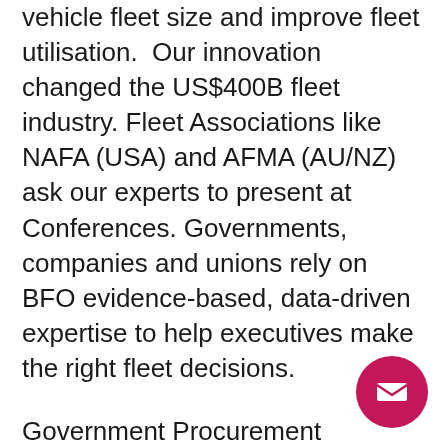vehicle fleet size and improve fleet utilisation.  Our innovation changed the US$400B fleet industry. Fleet Associations like NAFA (USA) and AFMA (AU/NZ) ask our experts to present at Conferences. Governments, companies and unions rely on BFO evidence-based, data-driven expertise to help executives make the right fleet decisions.
Government Procurement agencies trust BFO.  Our thought leadership, independence and empirically proven subject matter expertise help to improve services, do more with less, and validate new initiatives to avoid expensive mistakes.  Make Electric Vehicle [EV] Net Zero 203... decarbonise decisions without risk
[Figure (other): Pink/magenta circular email button with white envelope icon, positioned in the lower right area of the page]